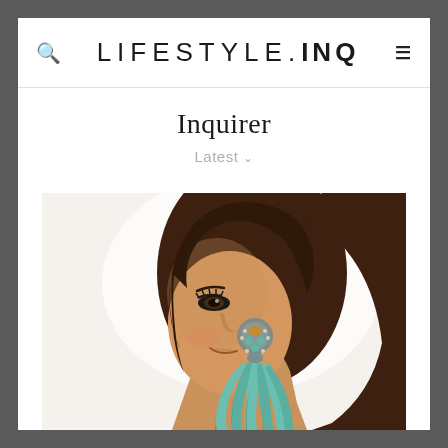LIFESTYLE.INQ
Inquirer
Latest
[Figure (photo): Close-up profile photo of a young Asian woman smiling, wearing an elaborate statement earring with teal/turquoise feathers and beaded gem detail. Her hair is dark brown and loosely styled. The background is light/white.]